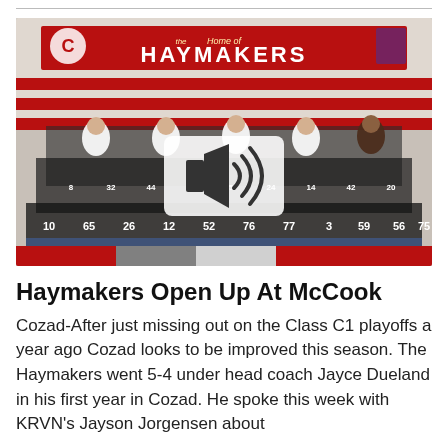[Figure (photo): Team photo of the Cozad Haymakers football team posed in rows inside a gymnasium with a red 'Home of the Haymakers' banner in the background. Players wear black jerseys with numbers. A speaker/audio icon is overlaid in the center of the image.]
Haymakers Open Up At McCook
Cozad-After just missing out on the Class C1 playoffs a year ago Cozad looks to be improved this season. The Haymakers went 5-4 under head coach Jayce Dueland in his first year in Cozad. He spoke this week with KRVN's Jayson Jorgensen about